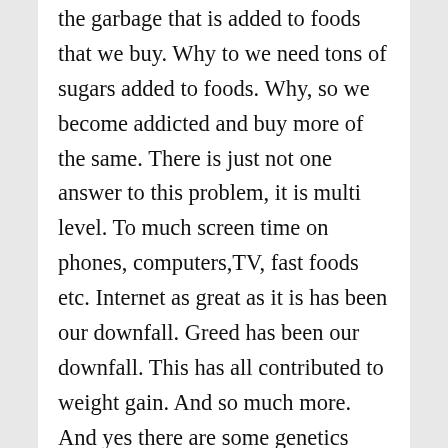the garbage that is added to foods that we buy. Why to we need tons of sugars added to foods. Why, so we become addicted and buy more of the same. There is just not one answer to this problem, it is multi level. To much screen time on phones, computers,TV, fast foods etc. Internet as great as it is has been our downfall. Greed has been our downfall. This has all contributed to weight gain. And so much more. And yes there are some genetics involved and diseases. Unless people are willing to cook meals with little processed food this issue is not going away. Remember decades ago it was homecooked meals of meat, vegetables and potatoes or what ever filler was served. Soda was a treat once in awhile. I